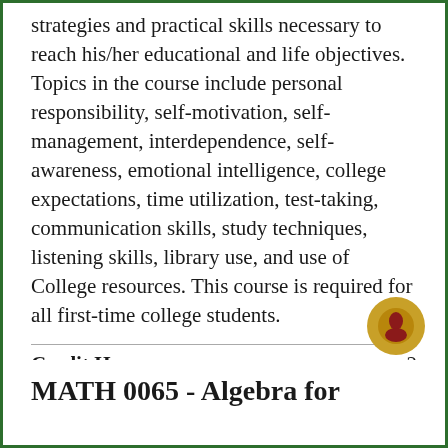strategies and practical skills necessary to reach his/her educational and life objectives. Topics in the course include personal responsibility, self-motivation, self-management, interdependence, self-awareness, emotional intelligence, college expectations, time utilization, test-taking, communication skills, study techniques, listening skills, library use, and use of College resources. This course is required for all first-time college students.
|  |  |
| --- | --- |
| Credit Hours: | 2 |
| Lecture Hours: | 2 |
MATH 0065 - Algebra for